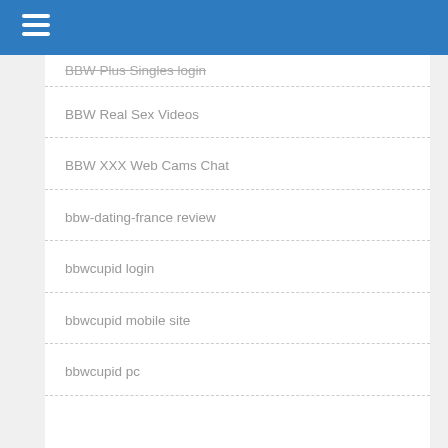BBW Plus Singles login
BBW Real Sex Videos
BBW XXX Web Cams Chat
bbw-dating-france review
bbwcupid login
bbwcupid mobile site
bbwcupid pc